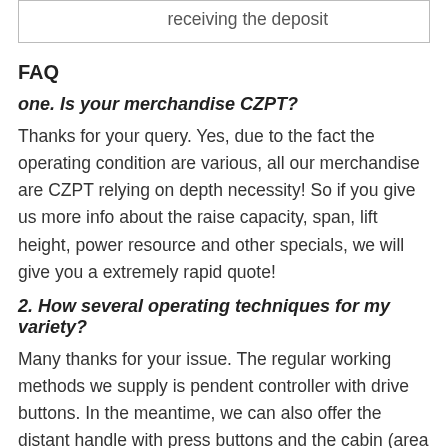|  | receiving the deposit |
FAQ
one. Is your merchandise CZPT?
Thanks for your query. Yes, due to the fact the operating condition are various, all our merchandise are CZPT relying on depth necessity! So if you give us more info about the raise capacity, span, lift height, power resource and other specials, we will give you a extremely rapid quote!
2. How several operating techniques for my variety?
Many thanks for your issue. The regular working methods we supply is pendent controller with drive buttons. In the meantime, we can also offer the distant handle with press buttons and the cabin (area capsule seat) handle with joystick. You can pick any of them,